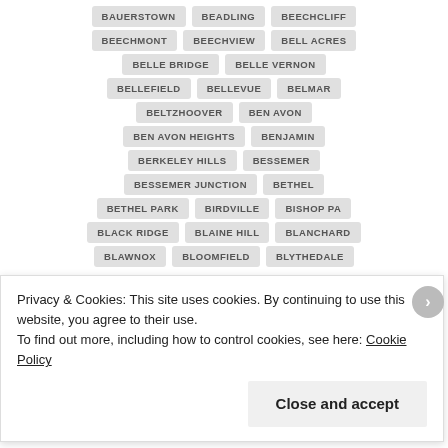BAUERSTOWN
BEADLING
BEECHCLIFF
BEECHMONT
BEECHVIEW
BELL ACRES
BELLE BRIDGE
BELLE VERNON
BELLEFIELD
BELLEVUE
BELMAR
BELTZHOOVER
BEN AVON
BEN AVON HEIGHTS
BENJAMIN
BERKELEY HILLS
BESSEMER
BESSEMER JUNCTION
BETHEL
BETHEL PARK
BIRDVILLE
BISHOP PA
BLACK RIDGE
BLAINE HILL
BLANCHARD
BLAWNOX
BLOOMFIELD
BLYTHEDALE
Privacy & Cookies: This site uses cookies. By continuing to use this website, you agree to their use.
To find out more, including how to control cookies, see here: Cookie Policy
Close and accept